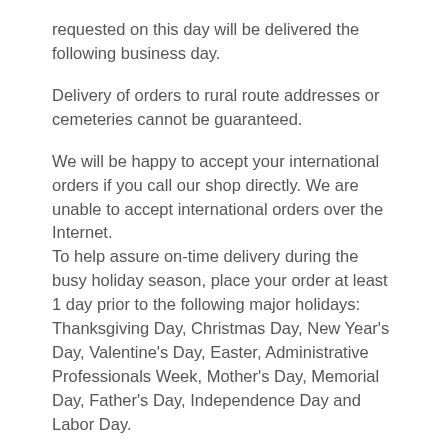requested on this day will be delivered the following business day.
Delivery of orders to rural route addresses or cemeteries cannot be guaranteed.
We will be happy to accept your international orders if you call our shop directly. We are unable to accept international orders over the Internet.
To help assure on-time delivery during the busy holiday season, place your order at least 1 day prior to the following major holidays: Thanksgiving Day, Christmas Day, New Year's Day, Valentine's Day, Easter, Administrative Professionals Week, Mother's Day, Memorial Day, Father's Day, Independence Day and Labor Day.
Our shop will always be closed on the following holidays: Thanksgiving Day, Christmas Day, New Year's Day, Easter, Mother's Day, Memorial Day, Father's Day, Independence